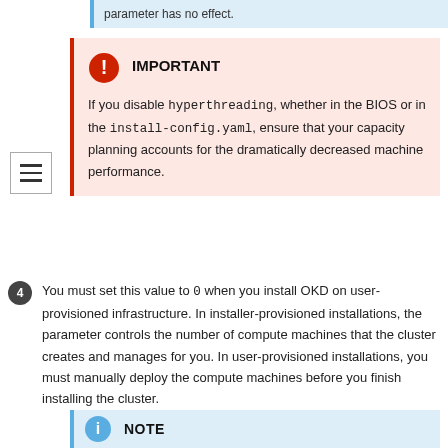parameter has no effect.
IMPORTANT
If you disable hyperthreading, whether in the BIOS or in the install-config.yaml, ensure that your capacity planning accounts for the dramatically decreased machine performance.
4. You must set this value to 0 when you install OKD on user-provisioned infrastructure. In installer-provisioned installations, the parameter controls the number of compute machines that the cluster creates and manages for you. In user-provisioned installations, you must manually deploy the compute machines before you finish installing the cluster.
NOTE